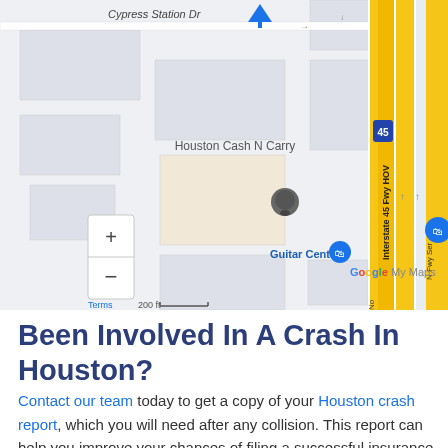[Figure (map): Google My Maps screenshot showing area near Cypress Station Dr in Houston, TX. Shows Interstate 45 Fwy HOV (yellow highway), Houston Cash N Carry with map pin, Guitar Center label, zoom +/- controls, Google My Maps watermark, Terms link, and 200 ft scale bar. Blue location pin at top center.]
Been Involved In A Crash In Houston?
Contact our team today to get a copy of your Houston crash report, which you will need after any collision. This report can help you improve your chances of filing a successful insurance claim or case in court. Get your Texas accident